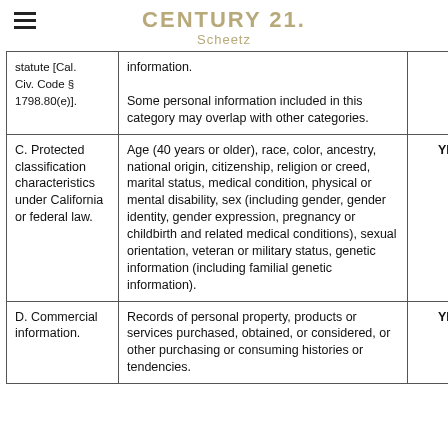CENTURY 21 Scheetz
| Category | Examples | Collected |
| --- | --- | --- |
| Statute [Cal. Civ. Code § 1798.80(e)]. | information.

Some personal information included in this category may overlap with other categories. |  |
| C. Protected classification characteristics under California or federal law. | Age (40 years or older), race, color, ancestry, national origin, citizenship, religion or creed, marital status, medical condition, physical or mental disability, sex (including gender, gender identity, gender expression, pregnancy or childbirth and related medical conditions), sexual orientation, veteran or military status, genetic information (including familial genetic information). | YES |
| D. Commercial information. | Records of personal property, products or services purchased, obtained, or considered, or other purchasing or consuming histories or tendencies. | YES |